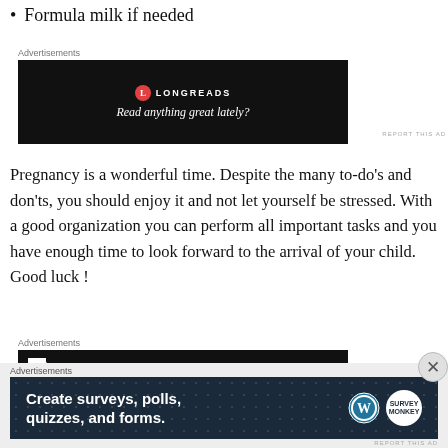Formula milk if needed
[Figure (other): Longreads advertisement banner: black background with Longreads logo and tagline 'Read anything great lately?']
Pregnancy is a wonderful time. Despite the many to-do's and don'ts, you should enjoy it and not let yourself be stressed. With a good organization you can perform all important tasks and you have enough time to look forward to the arrival of your child. Good luck !
[Figure (other): Dark advertisement banner partially visible showing a large number '2']
[Figure (other): Bottom overlay advertisement on dark navy background with dot pattern: 'Create surveys, polls, quizzes, and forms.' with WordPress and SurveyMonkey logos]